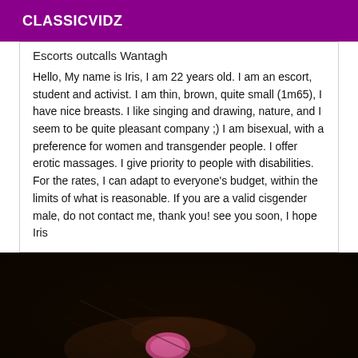CLASSICVIDZ
Escorts outcalls Wantagh
Hello, My name is Iris, I am 22 years old. I am an escort, student and activist. I am thin, brown, quite small (1m65), I have nice breasts. I like singing and drawing, nature, and I seem to be quite pleasant company ;) I am bisexual, with a preference for women and transgender people. I offer erotic massages. I give priority to people with disabilities. For the rates, I can adapt to everyone's budget, within the limits of what is reasonable. If you are a valid cisgender male, do not contact me, thank you! see you soon, I hope Iris
[Figure (photo): Dark photograph, partially visible, showing a close-up image with a pink object visible against a dark background.]